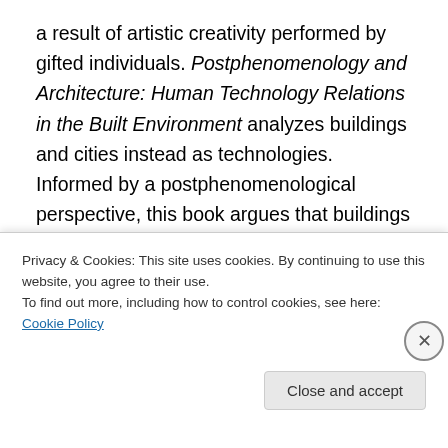a result of artistic creativity performed by gifted individuals. Postphenomenology and Architecture: Human Technology Relations in the Built Environment analyzes buildings and cities instead as technologies. Informed by a postphenomenological perspective, this book argues that buildings and the furniture of cities—like bike lanes, benches, and bus stops—are inscribed in a conceptual framework of multistability, which is to say that they fulfill different purposes over time. Yet, there are qualities in the built environment that are long lasting and immutable and that transcend temporal functionality and ephemeral
Privacy & Cookies: This site uses cookies. By continuing to use this website, you agree to their use.
To find out more, including how to control cookies, see here: Cookie Policy